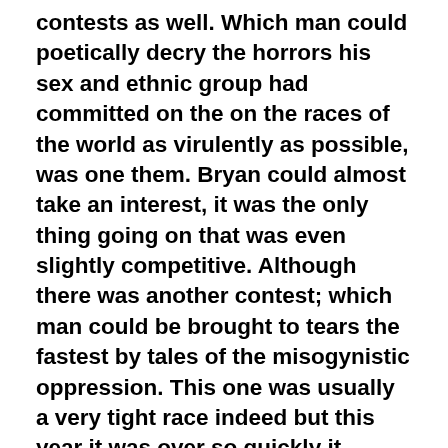contests as well.  Which man could poetically decry the horrors his sex and ethnic group had committed on the on the races of the world as virulently as possible, was one them.  Bryan could almost take an interest, it was the only thing going on that was even slightly competitive. Although there was another contest; which man could be brought to tears the fastest by tales of the misogynistic oppression.  This one was usually a very tight race indeed but this year it was over so quickly it hadn't actually started yet.
The art contests was much less edifying.
The women of regiment's endurance menses painting was underway and would take three